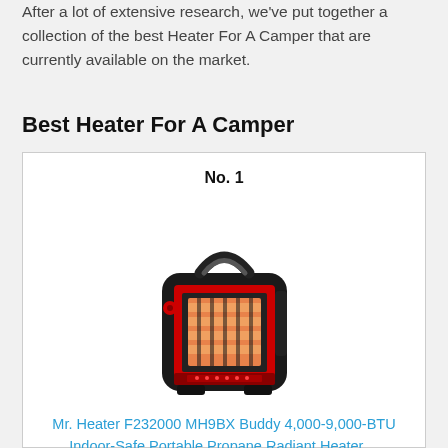After a lot of extensive research, we've put together a collection of the best Heater For A Camper that are currently available on the market.
Best Heater For A Camper
No. 1
[Figure (photo): Mr. Heater portable propane radiant heater, black and red, with carry handle on top and glowing heating element visible through front grate.]
Mr. Heater F232000 MH9BX Buddy 4,000-9,000-BTU Indoor-Safe Portable Propane Radiant Heater,...